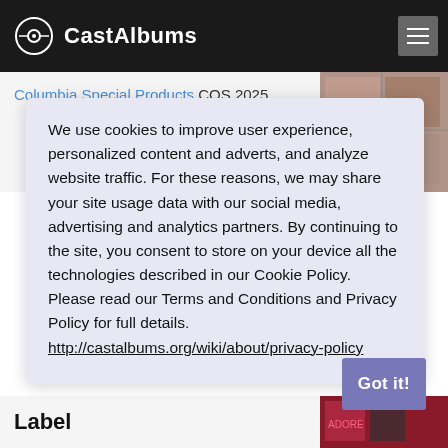CastAlbums
Columbia Special Products COS 2025
We use cookies to improve user experience, personalized content and adverts, and analyze website traffic. For these reasons, we may share your site usage data with our social media, advertising and analytics partners. By continuing to the site, you consent to store on your device all the technologies described in our Cookie Policy. Please read our Terms and Conditions and Privacy Policy for full details. http://castalbums.org/wiki/about/privacy-policy
Label